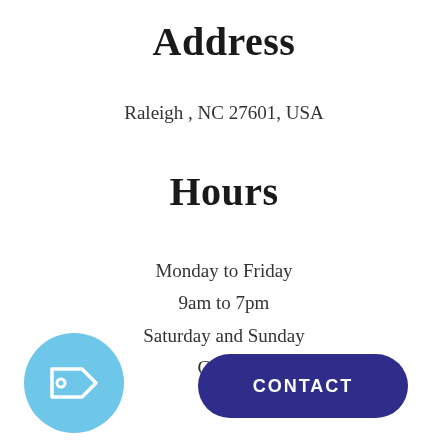Address
Raleigh , NC 27601, USA
Hours
Monday to Friday
9am to 7pm
Saturday and Sunday
Closed
[Figure (illustration): Light blue circle with a white price tag icon outline inside]
[Figure (other): Dark navy blue rounded rectangle button with white bold text CONTACT]